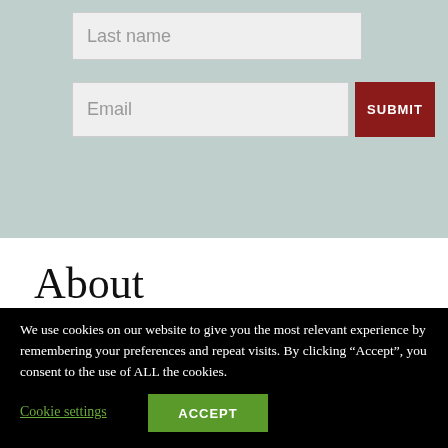[Figure (screenshot): Form section with light teal/grey background showing a 'Last name' input field and an 'Email' input field with a dark red SUBMIT button]
About
Mission & About Us
Careers
Getting Published
We use cookies on our website to give you the most relevant experience by remembering your preferences and repeat visits. By clicking “Accept”, you consent to the use of ALL the cookies.
Cookie settings
ACCEPT